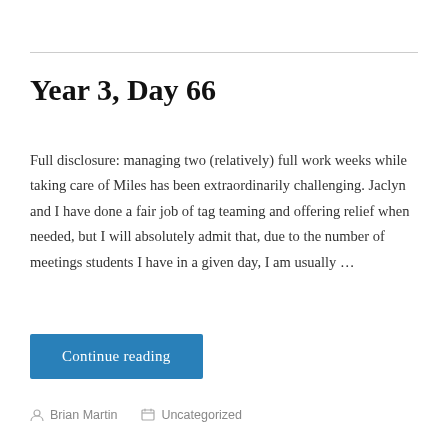Year 3, Day 66
Full disclosure: managing two (relatively) full work weeks while taking care of Miles has been extraordinarily challenging. Jaclyn and I have done a fair job of tag teaming and offering relief when needed, but I will absolutely admit that, due to the number of meetings students I have in a given day, I am usually …
Continue reading
Brian Martin   Uncategorized